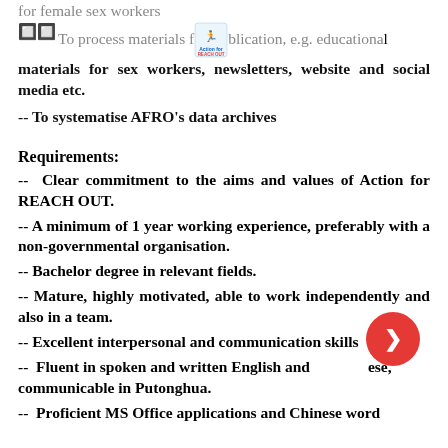for female sex workers
🔲🔲 To process materials for publication, e.g. educational materials for sex workers, newsletters, website and social media etc.
-- To systematise AFRO's data archives
Requirements:
-- Clear commitment to the aims and values of Action for REACH OUT.
-- A minimum of 1 year working experience, preferably with a non-governmental organisation.
-- Bachelor degree in relevant fields.
-- Mature, highly motivated, able to work independently and also in a team.
-- Excellent interpersonal and communication skills
-- Fluent in spoken and written English and Chinese, communicable in Putonghua.
-- Proficient MS Office applications and Chinese word